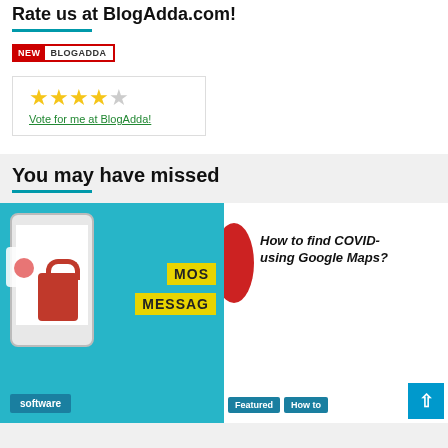Rate us at BlogAdda.com!
[Figure (illustration): BlogAdda badge with NEW label and BLOGADDA text in a red-bordered box]
[Figure (illustration): Star rating widget showing 3.5 out of 5 stars with a green 'Vote for me at BlogAdda!' link]
You may have missed
[Figure (illustration): Teal background card showing a phone with messaging app, padlock, and 'MOS MESSAG' yellow label, tagged 'software']
[Figure (illustration): White card with italic bold text 'How to find COVID- using Google Maps?' with Featured and How to tags]